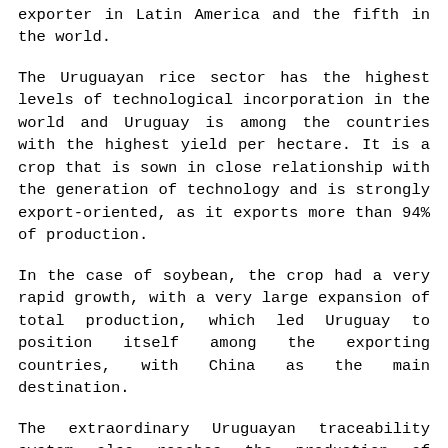exporter in Latin America and the fifth in the world.
The Uruguayan rice sector has the highest levels of technological incorporation in the world and Uruguay is among the countries with the highest yield per hectare. It is a crop that is sown in close relationship with the generation of technology and is strongly export-oriented, as it exports more than 94% of production.
In the case of soybean, the crop had a very rapid growth, with a very large expansion of total production, which led Uruguay to position itself among the exporting countries, with China as the main destination.
The extraordinary Uruguayan traceability system also reaches the production of poultry, honey, citrus and wine, among other products.
Its crops benefit from the development of agro-intelligent technology that allows consumers to have access to information on the management of